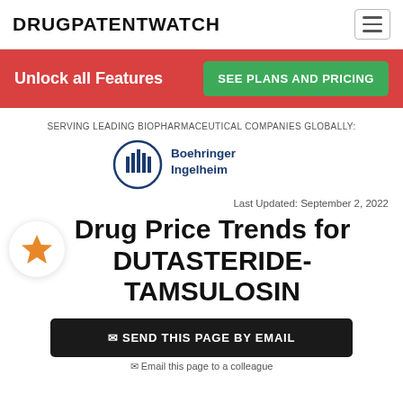DRUGPATENTWATCH
Unlock all Features | SEE PLANS AND PRICING
SERVING LEADING BIOPHARMACEUTICAL COMPANIES GLOBALLY:
[Figure (logo): Boehringer Ingelheim logo with circular building icon and company name in blue]
Last Updated: September 2, 2022
Drug Price Trends for DUTASTERIDE-TAMSULOSIN
✉ SEND THIS PAGE BY EMAIL
✉ Email this page to a colleague